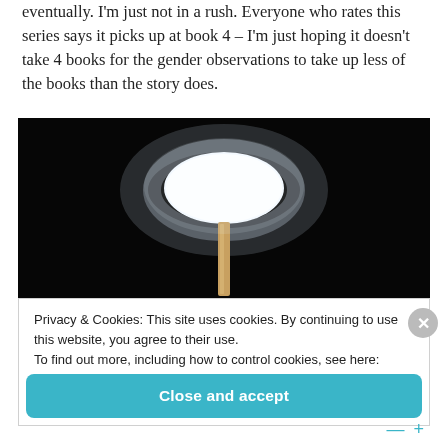eventually. I'm just not in a rush. Everyone who rates this series says it picks up at book 4 – I'm just hoping it doesn't take 4 books for the gender observations to take up less of the books than the story does.
[Figure (photo): Close-up photograph of a street lamp glowing against a dark black background, with a bright white oval light at the top and a narrow pole below it.]
Privacy & Cookies: This site uses cookies. By continuing to use this website, you agree to their use.
To find out more, including how to control cookies, see here:
Cookie Policy
Close and accept